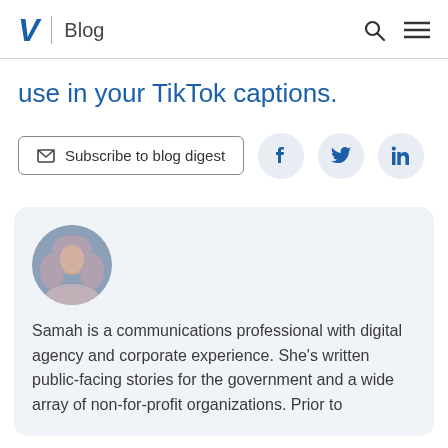V | Blog
use in your TikTok captions.
Subscribe to blog digest
[Figure (photo): Circular profile photo of Samah, a woman wearing a hijab, smiling, with a blurred city background]
Samah is a communications professional with digital agency and corporate experience. She's written public-facing stories for the government and a wide array of non-for-profit organizations. Prior to